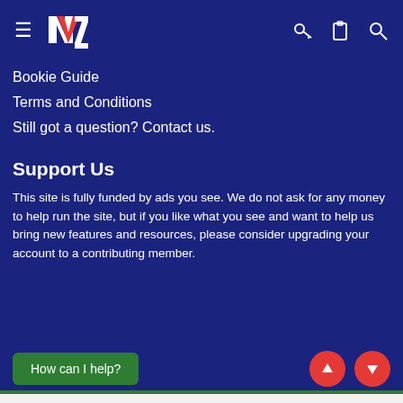NZ logo navigation bar with hamburger menu, key icon, clipboard icon, search icon
Bookie Guide
Terms and Conditions
Still got a question? Contact us.
Support Us
This site is fully funded by ads you see. We do not ask for any money to help run the site, but if you like what you see and want to help us bring new features and resources, please consider upgrading your account to a contributing member.
How can I help?
[Figure (screenshot): CVS Pharmacy advertisement: '50+ Same Day Photo Products Available At CVS®. Shop Today!' with CVS pharmacy logo and navigation arrow icon]